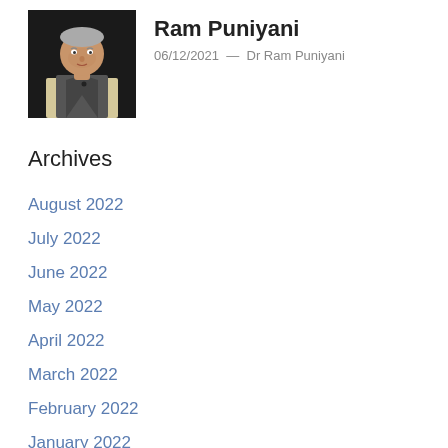[Figure (photo): Photo of Dr Ram Puniyani, an older man wearing a grey vest over a light-colored shirt, against a dark background.]
Ram Puniyani
06/12/2021  —  Dr Ram Puniyani
Archives
August 2022
July 2022
June 2022
May 2022
April 2022
March 2022
February 2022
January 2022
December 2021